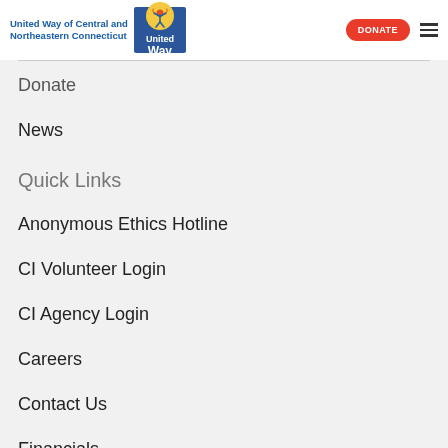United Way of Central and Northeastern Connecticut | United Way | DONATE | [menu]
Donate
News
Quick Links
Anonymous Ethics Hotline
CI Volunteer Login
CI Agency Login
Careers
Contact Us
Financials
Tax Information
Commitment to Racial Equity